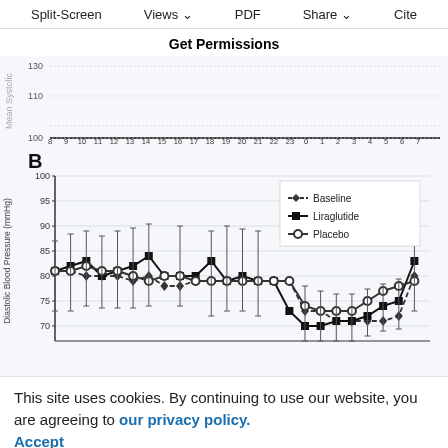Split-Screen   Views   PDF   Share   Cite
Get Permissions
[Figure (line-chart): B]
This site uses cookies. By continuing to use our website, you are agreeing to our privacy policy. Accept